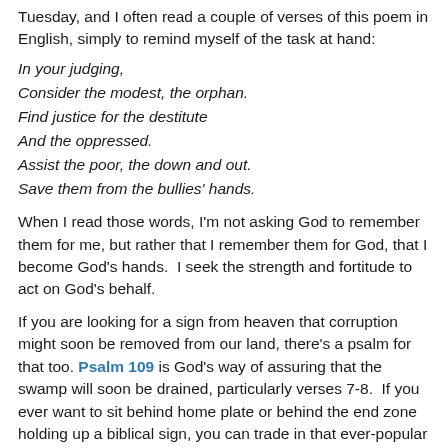Tuesday, and I often read a couple of verses of this poem in English, simply to remind myself of the task at hand:
In your judging,
Consider the modest, the orphan.
Find justice for the destitute
And the oppressed.
Assist the poor, the down and out.
Save them from the bullies' hands.
When I read those words, I'm not asking God to remember them for me, but rather that I remember them for God, that I become God's hands.  I seek the strength and fortitude to act on God's behalf.
If you are looking for a sign from heaven that corruption might soon be removed from our land, there's a psalm for that too. Psalm 109 is God's way of assuring that the swamp will soon be drained, particularly verses 7-8.  If you ever want to sit behind home plate or behind the end zone holding up a biblical sign, you can trade in that ever-popular "John 3:16" for something a little more Jewish.  Hold up